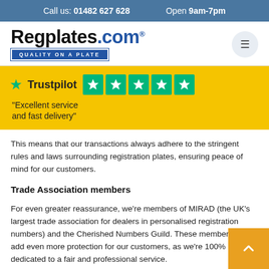Call us: 01482 627 628    Open 9am-7pm
[Figure (logo): Regplates.com logo with tagline QUALITY ON A PLATE and hamburger menu icon]
[Figure (infographic): Trustpilot banner on yellow background with 5 green star boxes and quote: Excellent service and fast delivery]
This means that our transactions always adhere to the stringent rules and laws surrounding registration plates, ensuring peace of mind for our customers.
Trade Association members
For even greater reassurance, we're members of MIRAD (the UK's largest trade association for dealers in personalised registration numbers) and the Cherished Numbers Guild. These memberships add even more protection for our customers, as we're 100% dedicated to a fair and professional service.